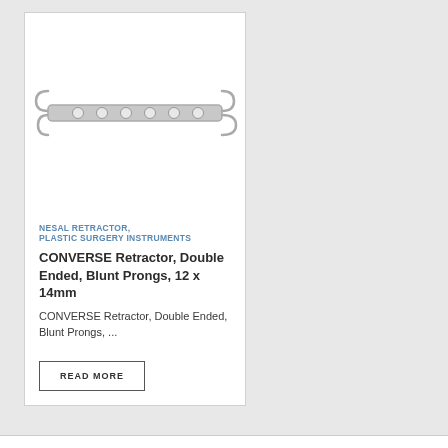[Figure (illustration): CONVERSE Nasal Retractor surgical instrument — a flat elongated bar with 6 circular holes and curved hook ends on both sides, shown horizontally]
NESAL RETRACTOR, PLASTIC SURGERY INSTRUMENTS
CONVERSE Retractor, Double Ended, Blunt Prongs, 12 x 14mm
CONVERSE Retractor, Double Ended, Blunt Prongs, ...
READ MORE